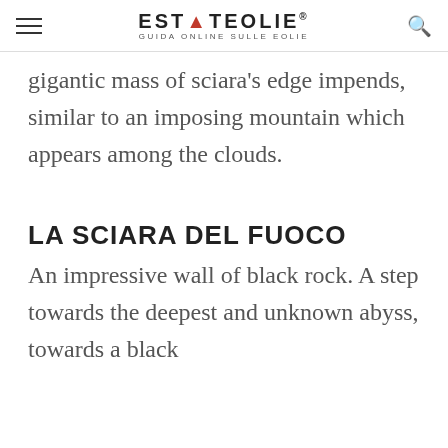ESTATEOLIE® GUIDA ONLINE SULLE EOLIE
gigantic mass of sciara's edge impends, similar to an imposing mountain which appears among the clouds.
LA SCIARA DEL FUOCO
An impressive wall of black rock. A step towards the deepest and unknown abyss, towards a black